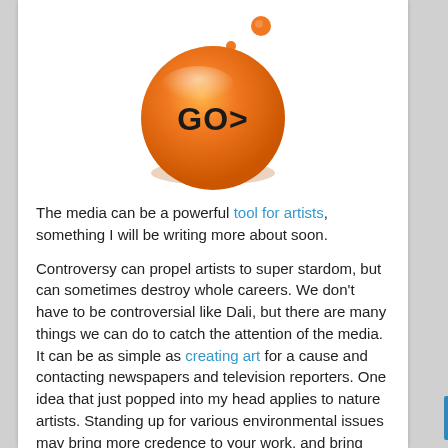[Figure (illustration): Orange glossy circular button/logo with text 'GO>' in dark bold letters, with a small orange circle above it, on white background]
The media can be a powerful tool for artists, something I will be writing more about soon.
Controversy can propel artists to super stardom, but can sometimes destroy whole careers. We don't have to be controversial like Dali, but there are many things we can do to catch the attention of the media. It can be as simple as creating art for a cause and contacting newspapers and television reporters. One idea that just popped into my head applies to nature artists. Standing up for various environmental issues may bring more credence to your work, and bring you exposure from various media sources.